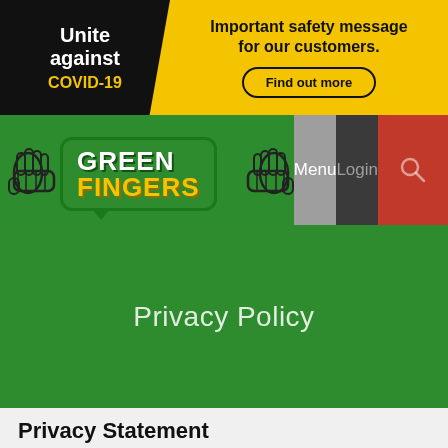[Figure (infographic): COVID-19 banner: black left section with 'Unite against COVID-19' text, yellow right section with 'Important safety message for our customers.' and 'Find out more' button]
[Figure (logo): Green Fingers logo with cartoon hands giving thumbs up, green speech bubble, 'GREEN' in white and 'FINGERS' in yellow. Navigation bar with Menu (grey), Login (dark), and search (red) buttons.]
Privacy Policy
Privacy Statement